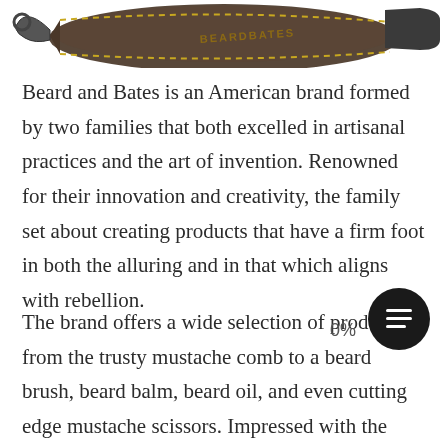[Figure (photo): Partial product photo showing a leather-handled grooming tool (strop or comb) with dark metal hook at top and brown leather handle with yellow stitching and branding text]
Beard and Bates is an American brand formed by two families that both excelled in artisanal practices and the art of invention. Renowned for their innovation and creativity, the family set about creating products that have a firm foot in both the alluring and in that which aligns with rebellion.
The brand offers a wide selection of products from the trusty mustache comb to a beard brush, beard balm, beard oil, and even cutting edge mustache scissors. Impressed with the